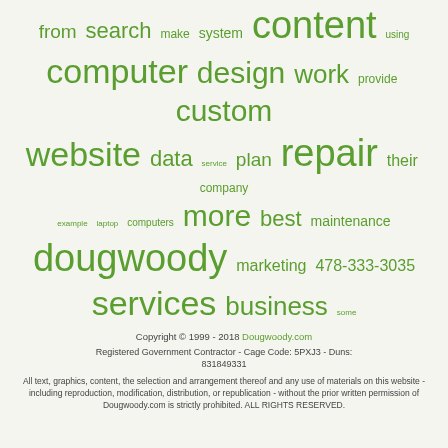[Figure (other): Word cloud with various terms related to computer/web services in green, varying font sizes]
Copyright © 1999 - 2018 Dougwoody.com
Registered Government Contractor - Cage Code: 5PXJ3 - Duns: 831849331
All text, graphics, content, the selection and arrangement thereof and any use of materials on this website - including reproduction, modification, distribution, or republication - without the prior written permission of Dougwoody.com is strictly prohibited. ALL RIGHTS RESERVED.